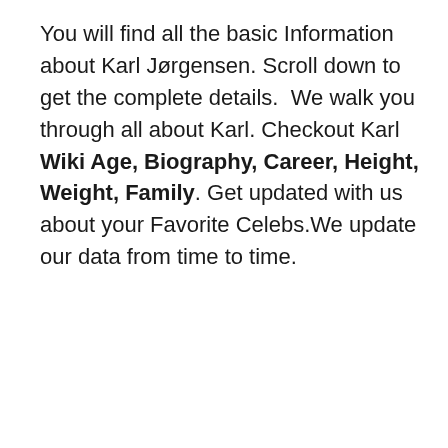You will find all the basic Information about Karl Jørgensen. Scroll down to get the complete details.  We walk you through all about Karl. Checkout Karl Wiki Age, Biography, Career, Height, Weight, Family. Get updated with us about your Favorite Celebs.We update our data from time to time.